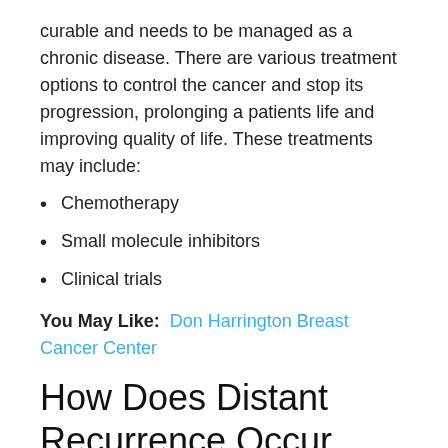curable and needs to be managed as a chronic disease. There are various treatment options to control the cancer and stop its progression, prolonging a patients life and improving quality of life. These treatments may include:
Chemotherapy
Small molecule inhibitors
Clinical trials
You May Like:  Don Harrington Breast Cancer Center
How Does Distant Recurrence Occur
Many patients find it hard to understand how they can be apparently cancer free one day and be diagnosed with